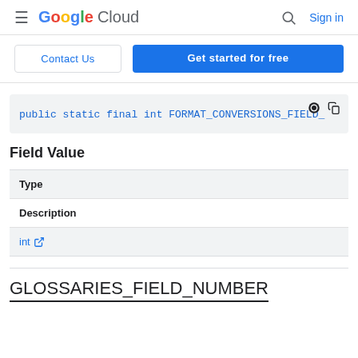Google Cloud — Sign in
Contact Us | Get started for free
[Figure (screenshot): Code snippet showing: public static final int FORMAT_CONVERSIONS_FIELD_]
Field Value
| Type | Description |
| --- | --- |
| int [external link] |  |
GLOSSARIES_FIELD_NUMBER